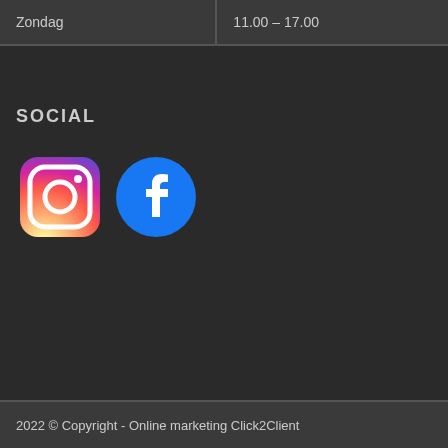| Zondag | 11.00 – 17.00 |
SOCIAL
[Figure (logo): Instagram logo — colorful gradient camera icon]
[Figure (logo): Facebook logo — blue circle with white letter f]
2022 © Copyright - Online marketing Click2Client